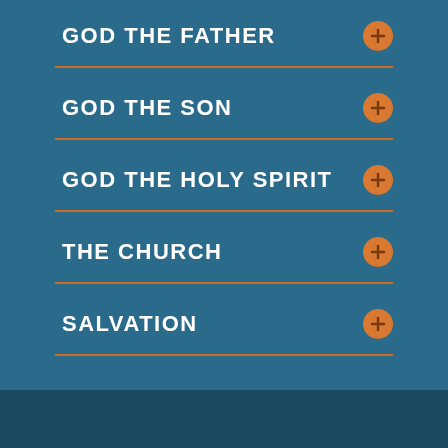GOD THE FATHER
GOD THE SON
GOD THE HOLY SPIRIT
THE CHURCH
SALVATION